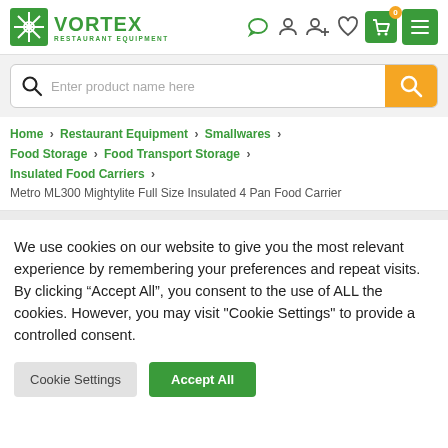[Figure (logo): Vortex Restaurant Equipment logo with green star/compass icon and green text]
[Figure (screenshot): Navigation header icons: chat, user, add user, heart, cart with 0 badge, hamburger menu on green background]
[Figure (screenshot): Search bar with magnifier icon and 'Enter product name here' placeholder, orange search button]
Home > Restaurant Equipment > Smallwares > Food Storage > Food Transport Storage > Insulated Food Carriers > Metro ML300 Mightylite Full Size Insulated 4 Pan Food Carrier
We use cookies on our website to give you the most relevant experience by remembering your preferences and repeat visits. By clicking “Accept All”, you consent to the use of ALL the cookies. However, you may visit "Cookie Settings" to provide a controlled consent.
Cookie Settings
Accept All